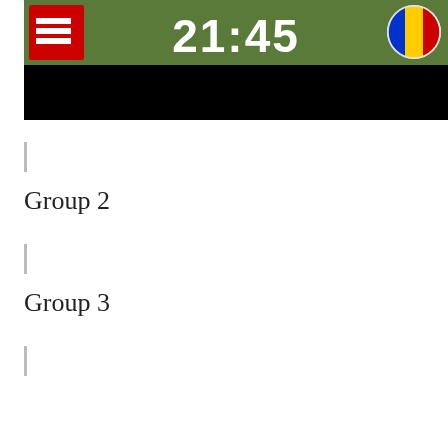[Figure (photo): Sports scoreboard image showing '21:45' in large white text, with flags on either side — a red flag with white horizontal stripes on the left, and a circular Romanian flag (blue, yellow, red) on the right. The bottom portion of the image is black.]
|
Group 2
|
Group 3
|